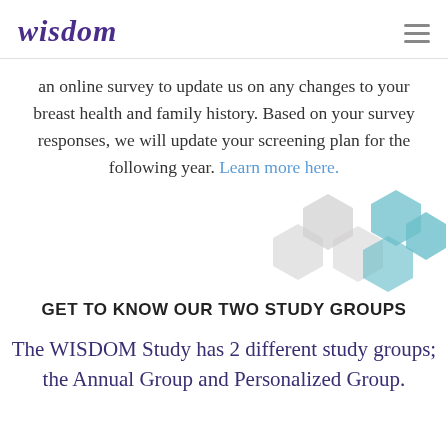Wisdom
an online survey to update us on any changes to your breast health and family history. Based on your survey responses, we will update your screening plan for the following year. Learn more here.
[Figure (illustration): Decorative hexagon shapes in gray and teal colors on the right side of the page]
GET TO KNOW OUR TWO STUDY GROUPS
The WISDOM Study has 2 different study groups; the Annual Group and Personalized Group.